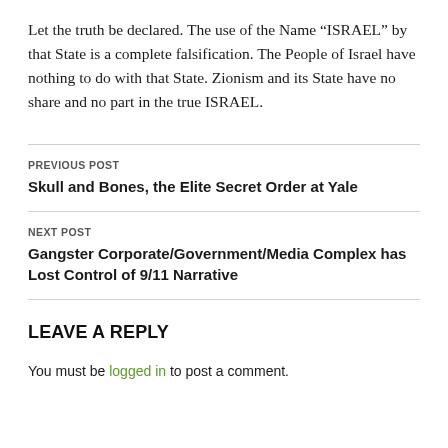Let the truth be declared. The use of the Name “ISRAEL” by that State is a complete falsification. The People of Israel have nothing to do with that State. Zionism and its State have no share and no part in the true ISRAEL.
PREVIOUS POST
Skull and Bones, the Elite Secret Order at Yale
NEXT POST
Gangster Corporate/Government/Media Complex has Lost Control of 9/11 Narrative
LEAVE A REPLY
You must be logged in to post a comment.